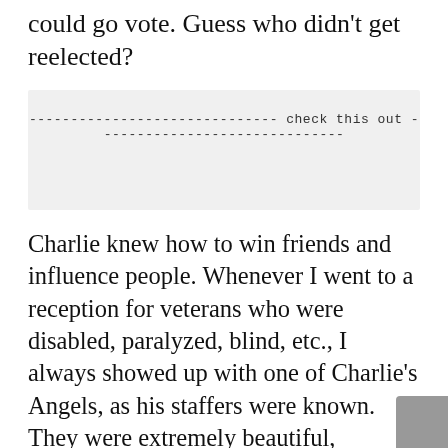could go vote. Guess who didn't get reelected?
[Figure (other): A light gray box with a centered dashed-line divider reading 'check this out']
Charlie knew how to win friends and influence people. Whenever I went to a reception for veterans who were disabled, paralyzed, blind, etc., I always showed up with one of Charlie's Angels, as his staffers were known. They were extremely beautiful, intelligent women. They went along with me to these various functions because their boss wanted to know what was going on with veterans, and they always went back with the full report.